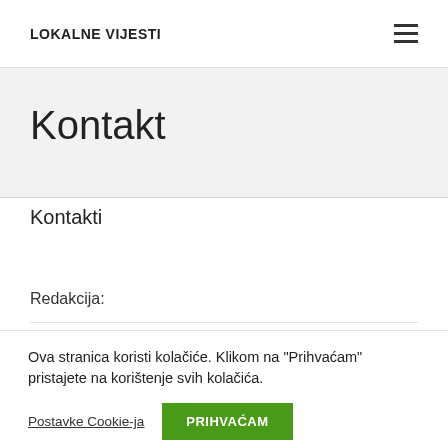LOKALNE VIJESTI
Kontakt
Kontakti
Redakcija:
Ova stranica koristi kolačiće. Klikom na "Prihvaćam" pristajete na korištenje svih kolačića.
Postavke Cookie-ja
PRIHVAĆAM